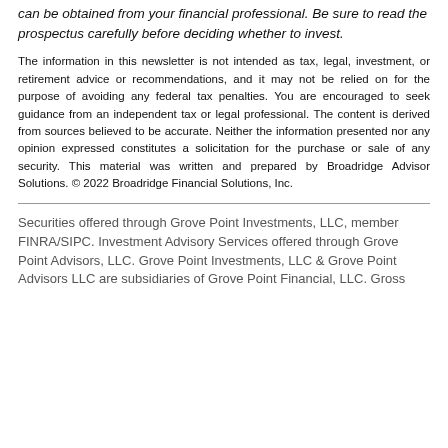can be obtained from your financial professional. Be sure to read the prospectus carefully before deciding whether to invest.
The information in this newsletter is not intended as tax, legal, investment, or retirement advice or recommendations, and it may not be relied on for the purpose of avoiding any federal tax penalties. You are encouraged to seek guidance from an independent tax or legal professional. The content is derived from sources believed to be accurate. Neither the information presented nor any opinion expressed constitutes a solicitation for the purchase or sale of any security. This material was written and prepared by Broadridge Advisor Solutions. © 2022 Broadridge Financial Solutions, Inc.
Securities offered through Grove Point Investments, LLC, member FINRA/SIPC. Investment Advisory Services offered through Grove Point Advisors, LLC. Grove Point Investments, LLC & Grove Point Advisors LLC are subsidiaries of Grove Point Financial, LLC. Gross